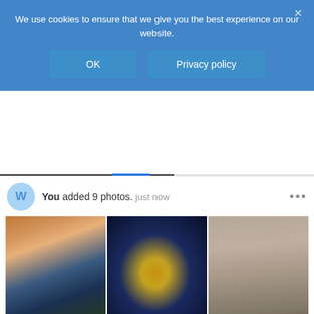We use cookies to ensure that we give you the best experience on our website.
OK
Privacy policy
You added 9 photos. just now
[Figure (photo): Grid of 6 Paris photos: gargoyle with city at sunset, Arc de Triomphe at night, Eiffel Tower street view, Eiffel Tower at night black background, aerial city view, Haussmann boulevard]